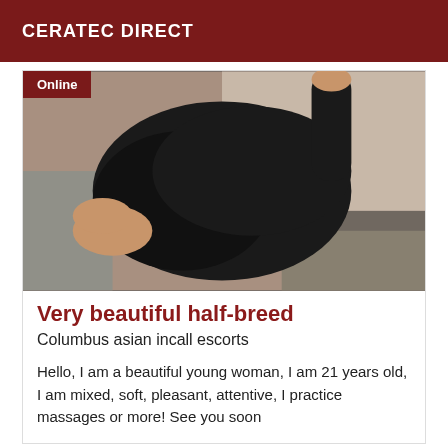CERATEC DIRECT
[Figure (photo): Person wearing black clothing, posed on a grey couch, photo with 'Online' badge overlay in top left corner]
Very beautiful half-breed
Columbus asian incall escorts
Hello, I am a beautiful young woman, I am 21 years old, I am mixed, soft, pleasant, attentive, I practice massages or more! See you soon